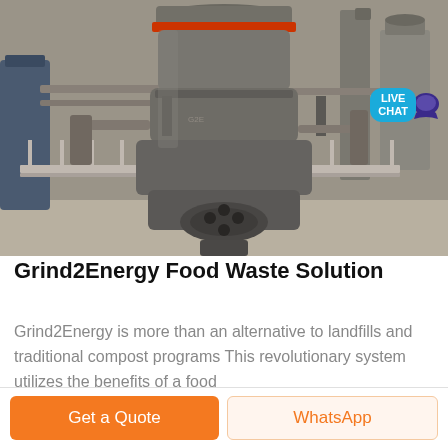[Figure (photo): Industrial food waste grinding machine in a factory/plant setting. Large grey metal grinder unit with red accent ring at top, surrounded by pipes, metal railings, and industrial equipment in a concrete building.]
Grind2Energy Food Waste Solution
Grind2Energy is more than an alternative to landfills and traditional compost programs This revolutionary system utilizes the benefits of a food
Get a Quote
WhatsApp